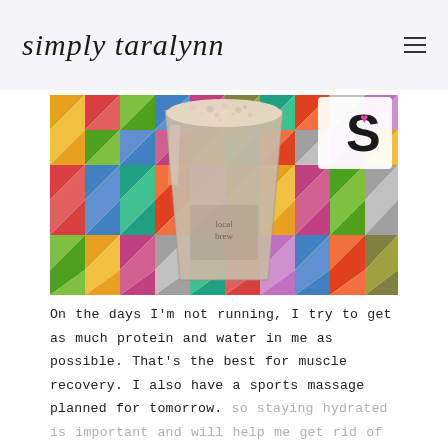simply taralynn
[Figure (photo): A glass of protein shake/smoothie sitting on a colorful geometric triangle-patterned surface, with a partial view of a card with the letter S in the background.]
On the days I'm not running, I try to get as much protein and water in me as possible. That's the best for muscle recovery. I also have a sports massage planned for tomorrow. so staying hydrated is important and will help me get rid of all the toxins.